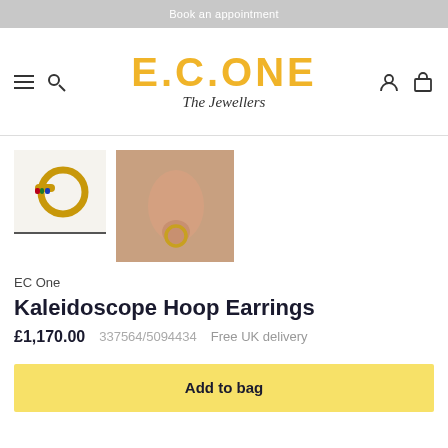Book an appointment
[Figure (logo): E.C.ONE The Jewellers logo in gold yellow with italic serif subtitle]
[Figure (photo): Two product thumbnail images: gold hoop earring product shot and model wearing the earring on ear]
EC One
Kaleidoscope Hoop Earrings
£1,170.00   337564/5094434   Free UK delivery
Add to bag